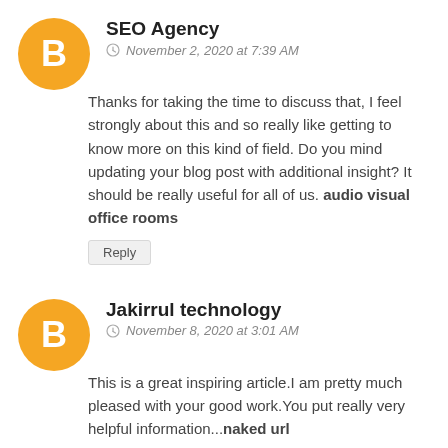SEO Agency
November 2, 2020 at 7:39 AM
Thanks for taking the time to discuss that, I feel strongly about this and so really like getting to know more on this kind of field. Do you mind updating your blog post with additional insight? It should be really useful for all of us. audio visual office rooms
Reply
Jakirrul technology
November 8, 2020 at 3:01 AM
This is a great inspiring article.I am pretty much pleased with your good work.You put really very helpful information...naked url
Reply
john
November 28, 2020 at 3:25 AM
Superbly written article, if only all bloggers offered the same content quality that you do, the internet would be a far better